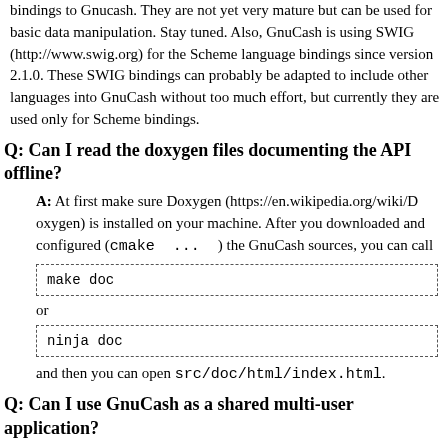bindings to Gnucash. They are not yet very mature but can be used for basic data manipulation. Stay tuned. Also, GnuCash is using SWIG (http://www.swig.org) for the Scheme language bindings since version 2.1.0. These SWIG bindings can probably be adapted to include other languages into GnuCash without too much effort, but currently they are used only for Scheme bindings.
Q: Can I read the doxygen files documenting the API offline?
A: At first make sure Doxygen (https://en.wikipedia.org/wiki/Doxygen) is installed on your machine. After you downloaded and configured (cmake ...) the GnuCash sources, you can call
make doc
or
ninja doc
and then you can open src/doc/html/index.html.
Q: Can I use GnuCash as a shared multi-user application?